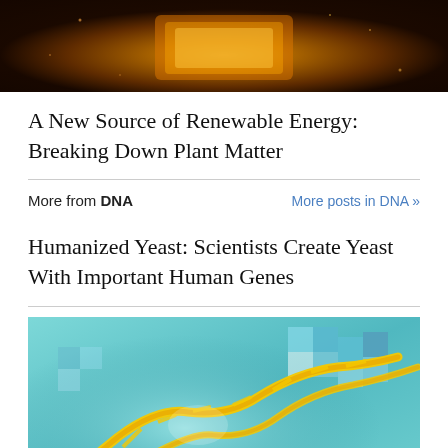[Figure (photo): Dark amber/orange glowing circuit board or technology image, partially cropped at top]
A New Source of Renewable Energy: Breaking Down Plant Matter
More from DNA
More posts in DNA »
Humanized Yeast: Scientists Create Yeast With Important Human Genes
[Figure (photo): 3D illustration of a DNA double helix strand in yellow/gold color on a teal/cyan pixelated background]